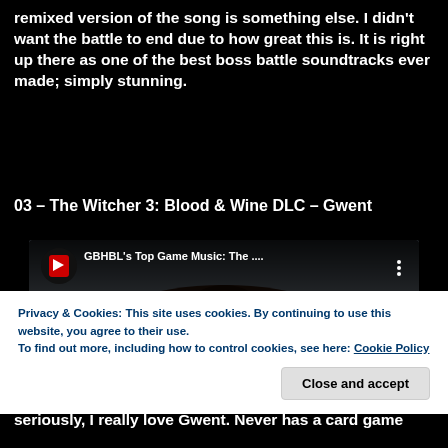remixed version of the song is something else. I didn't want the battle to end due to how great this is. It is right up there as one of the best boss battle soundtracks ever made; simply stunning.
03 – The Witcher 3: Blood & Wine DLC – Gwent
[Figure (screenshot): Embedded YouTube video player showing GBHBL's Top Game Music: The... with a dark fantasy game scene featuring a large winged creature and a warrior. The video is paused with a play button overlay.]
Privacy & Cookies: This site uses cookies. By continuing to use this website, you agree to their use.
To find out more, including how to control cookies, see here: Cookie Policy
seriously, I really love Gwent. Never has a card game